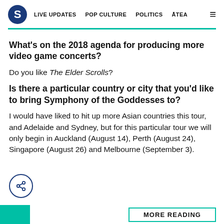S  LIVE UPDATES  POP CULTURE  POLITICS  ĀTEA  ☰
What's on the 2018 agenda for producing more video game concerts?
Do you like The Elder Scrolls?
Is there a particular country or city that you'd like to bring Symphony of the Goddesses to?
I would have liked to hit up more Asian countries this tour, and Adelaide and Sydney, but for this particular tour we will only begin in Auckland (August 14), Perth (August 24), Singapore (August 26) and Melbourne (September 3).
MORE READING